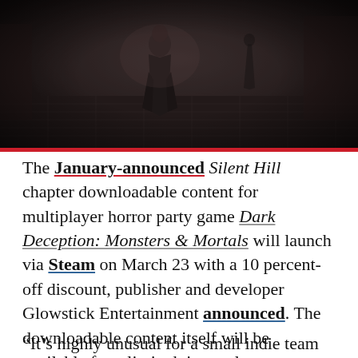[Figure (photo): Dark, moody screenshot from a horror game showing a figure in a long coat walking through a foggy, dimly lit industrial or corridor environment with metal grating floor, dark atmospheric lighting]
The January-announced Silent Hill chapter downloadable content for multiplayer horror party game Dark Deception: Monsters & Mortals will launch via Steam on March 23 with a 10 percent-off discount, publisher and developer Glowstick Entertainment announced. The downloadable content itself will be available for a limited time only.
“It's highly unusual for a small indie team like Glowstick